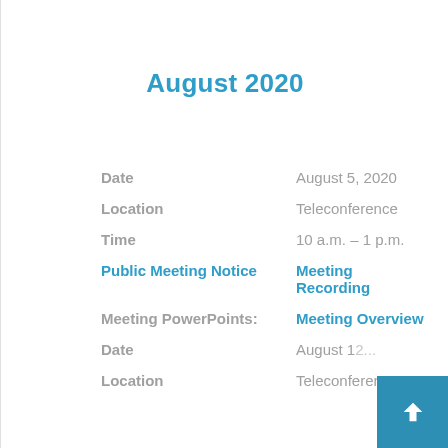August 2020
Date	August 5, 2020
Location	Teleconference
Time	10 a.m. – 1 p.m.
Public Meeting Notice	Meeting Recording
Meeting PowerPoints:	Meeting Overview
Date	August 1...
Location	Teleconference